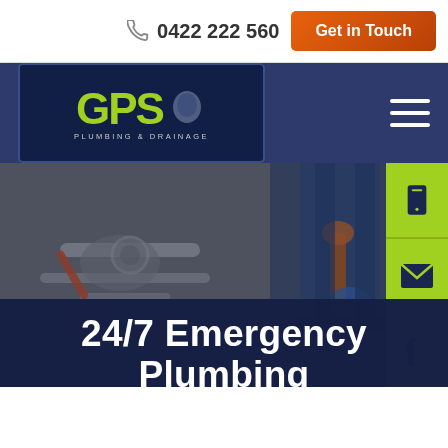0422 222 560 | Get in Touch
[Figure (logo): GPS Plumbing & Drainage logo — green GPS letters on dark navy background with white subtitle text]
[Figure (photo): Hero image showing two plumbers: left side shows close-up of hands using wrench/tools on plumbing fixtures, right side shows plumber in blue overalls holding an orange wrench]
24/7 Emergency Plumbing